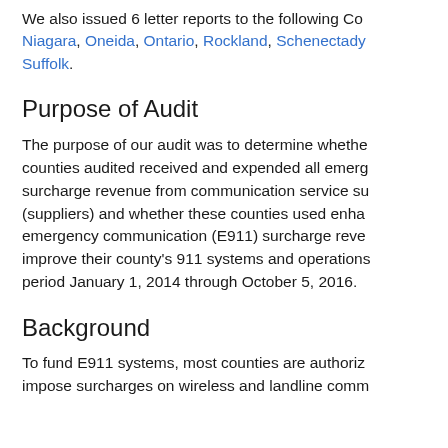We also issued 6 letter reports to the following Co Niagara, Oneida, Ontario, Rockland, Schenectady Suffolk.
Purpose of Audit
The purpose of our audit was to determine whethe counties audited received and expended all emerg surcharge revenue from communication service su (suppliers) and whether these counties used enha emergency communication (E911) surcharge reve improve their county's 911 systems and operations period January 1, 2014 through October 5, 2016.
Background
To fund E911 systems, most counties are authoriz impose surcharges on wireless and landline comm